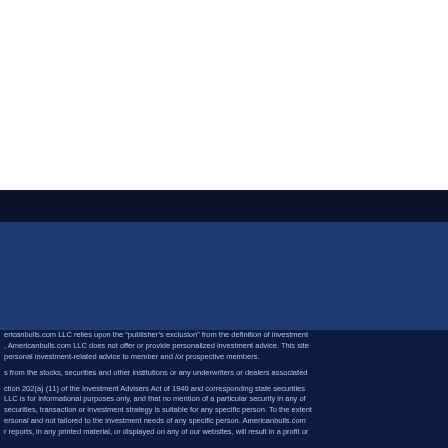ericanbulls.com LLC relies upon the "publisher's exclusion" from the definition of investment adviser. Americanbulls.com LLC does not offer or provide personalized investment advice. This site provides general, non-personal investment-related advice to member and /or prospective members.
s from the stocks, securities and other institutions or any underwriters or dealers associated
ction 202(a) (11) of the Investment Advisers Act of 1940 and corresponding state securities LLC is for informational purposes only, and that no mention of a particular security in any of securities, transaction or investment strategy is suitable for any specific person. To the extent ersonal and not tailored to the investment needs of any specific person. Americanbulls.com r reports, in any printed material, or displayed on any of our websites, will result in a profit or